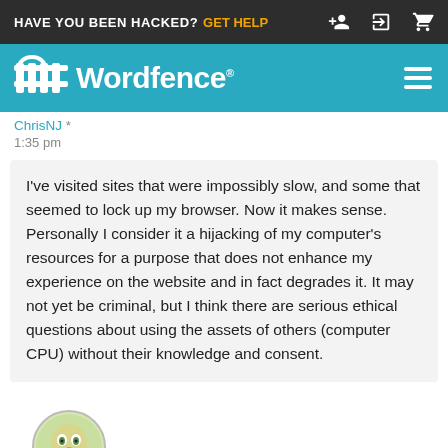HAVE YOU BEEN HACKED? GET HELP
[Figure (logo): Wordfence logo with shield/fence icon on teal background with hamburger menu icon]
ChrisNJ *
1:35 pm
I've visited sites that were impossibly slow, and some that seemed to lock up my browser. Now it makes sense. Personally I consider it a hijacking of my computer's resources for a purpose that does not enhance my experience on the website and in fact degrades it. It may not yet be criminal, but I think there are serious ethical questions about using the assets of others (computer CPU) without their knowledge and consent.
[Figure (illustration): Circular avatar with cartoon face illustration]
Rudolf *